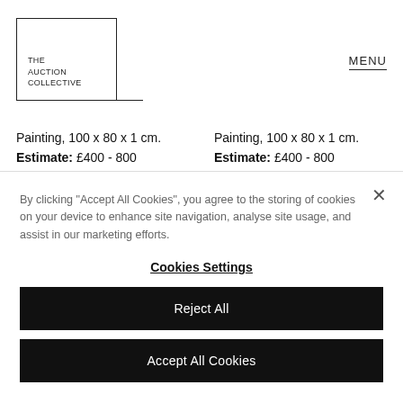THE AUCTION COLLECTIVE | MENU
Painting, 100 x 80 x 1 cm.
Estimate: £400 - 800
Auction Ended
Painting, 100 x 80 x 1 cm.
Estimate: £400 - 800
Auction Ended
By clicking "Accept All Cookies", you agree to the storing of cookies on your device to enhance site navigation, analyse site usage, and assist in our marketing efforts.
Cookies Settings
Reject All
Accept All Cookies